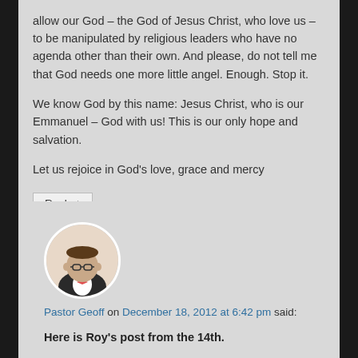allow our God – the God of Jesus Christ, who love us – to be manipulated by religious leaders who have no agenda other than their own. And please, do not tell me that God needs one more little angel. Enough. Stop it.
We know God by this name: Jesus Christ, who is our Emmanuel – God with us! This is our only hope and salvation.
Let us rejoice in God's love, grace and mercy
Reply ↓
[Figure (photo): Circular avatar photo of Pastor Geoff, a man wearing glasses and a bow tie, in a suit]
Pastor Geoff on December 18, 2012 at 6:42 pm said:
Here is Roy's post from the 14th.